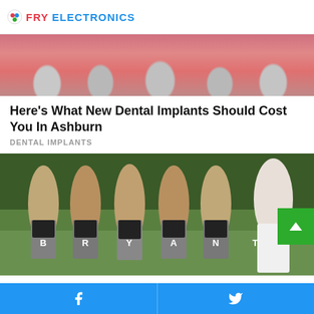FRY ELECTRONICS
[Figure (photo): Close-up photo of dental implants in gum tissue - silver metal implant posts visible in pink gum]
Here's What New Dental Implants Should Cost You In Ashburn
DENTAL IMPLANTS
[Figure (photo): Wedding photo of bridesmaids in black strapless tops with letters B, R, Y, A, N, T on their shorts/underwear showing, posing with backs turned while bride in white dress looks on laughing]
Facebook share | Twitter share